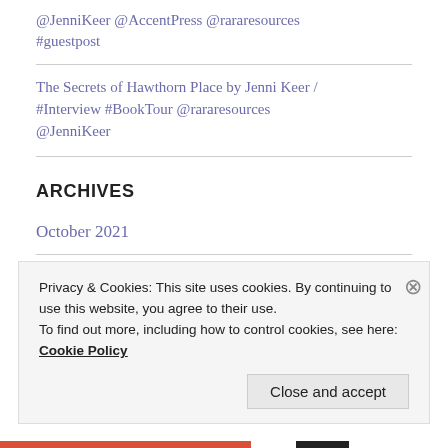@JenniKeer @AccentPress @rararesources #guestpost
The Secrets of Hawthorn Place by Jenni Keer / #Interview #BookTour @rararesources @JenniKeer
ARCHIVES
October 2021
September 2021
Privacy & Cookies: This site uses cookies. By continuing to use this website, you agree to their use.
To find out more, including how to control cookies, see here:
Cookie Policy
Close and accept